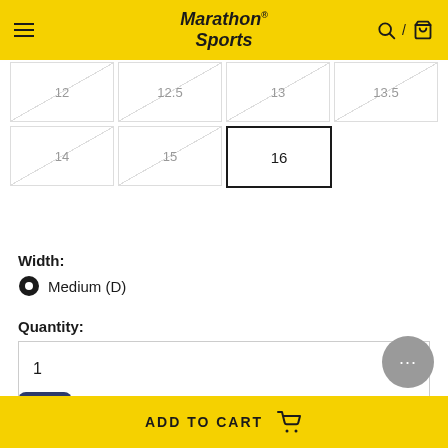Marathon Sports
[Figure (screenshot): Size selector grid with sizes 12, 12.5, 13, 13.5 (crossed out/unavailable), 14, 15 (crossed out/unavailable), and 16 (selected/available)]
Width: Medium (D)
Quantity: 1
ADD TO CART